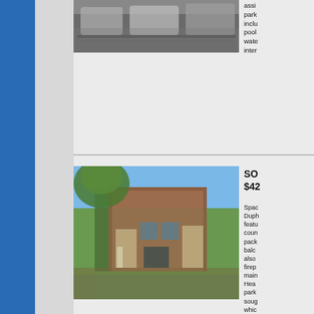[Figure (photo): Parking lot with cars, top portion of listing photo]
assigned parking included pool water inter
[Figure (photo): Exterior photo of brick townhouse/condo building with large trees in front, sunny day]
SOC $42
Spacious Duplex featuring counters packed balcony also fireplace main Hearst parking sought which street counters Click